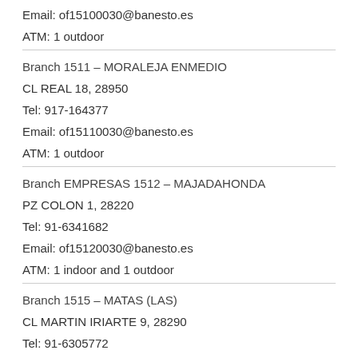Email: of15100030@banesto.es
ATM: 1 outdoor
Branch 1511 – MORALEJA ENMEDIO
CL REAL 18, 28950
Tel: 917-164377
Email: of15110030@banesto.es
ATM: 1 outdoor
Branch EMPRESAS 1512 – MAJADAHONDA
PZ COLON 1, 28220
Tel: 91-6341682
Email: of15120030@banesto.es
ATM: 1 indoor and 1 outdoor
Branch 1515 – MATAS (LAS)
CL MARTIN IRIARTE 9, 28290
Tel: 91-6305772
Email: of15150030@banesto.es